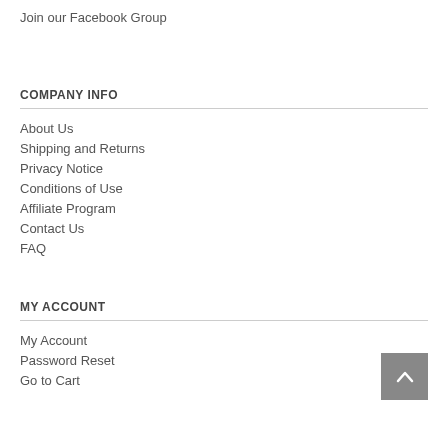Join our Facebook Group
COMPANY INFO
About Us
Shipping and Returns
Privacy Notice
Conditions of Use
Affiliate Program
Contact Us
FAQ
MY ACCOUNT
My Account
Password Reset
Go to Cart